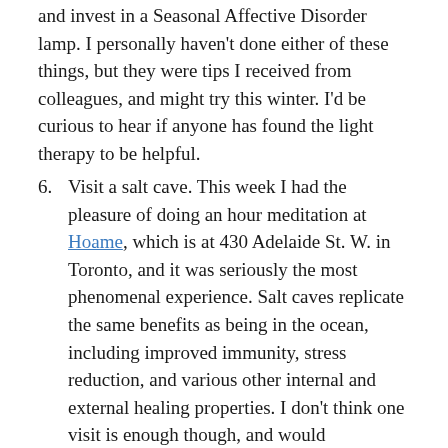and invest in a Seasonal Affective Disorder lamp. I personally haven't done either of these things, but they were tips I received from colleagues, and might try this winter. I'd be curious to hear if anyone has found the light therapy to be helpful.
6. Visit a salt cave. This week I had the pleasure of doing an hour meditation at Hoame, which is at 430 Adelaide St. W. in Toronto, and it was seriously the most phenomenal experience. Salt caves replicate the same benefits as being in the ocean, including improved immunity, stress reduction, and various other internal and external healing properties. I don't think one visit is enough though, and would recommend a few throughout the winter to fully reap the benefits. All I know is I left totally rejuvenated, way more centered, and all the muscle pain and tension I had